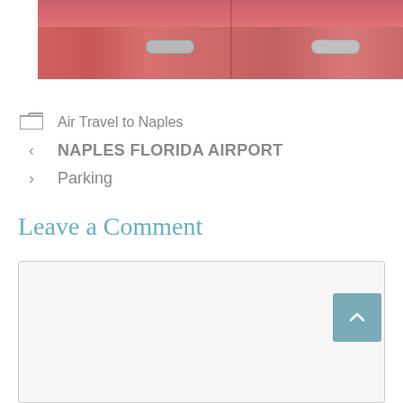[Figure (photo): Partial view of a red convertible car with two chrome door handles visible, with people visible in the car above]
Air Travel to Naples
NAPLES FLORIDA AIRPORT
Parking
Leave a Comment